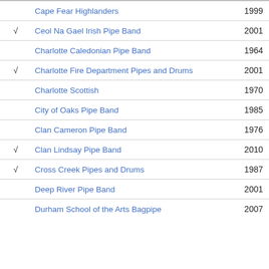|  | Name | Year |
| --- | --- | --- |
|  | Cape Fear Highlanders | 1999 |
| √ | Ceol Na Gael Irish Pipe Band | 2001 |
|  | Charlotte Caledonian Pipe Band | 1964 |
| √ | Charlotte Fire Department Pipes and Drums | 2001 |
|  | Charlotte Scottish | 1970 |
|  | City of Oaks Pipe Band | 1985 |
|  | Clan Cameron Pipe Band | 1976 |
| √ | Clan Lindsay Pipe Band | 2010 |
| √ | Cross Creek Pipes and Drums | 1987 |
|  | Deep River Pipe Band | 2001 |
|  | Durham School of the Arts Bagpipe | 2007 |